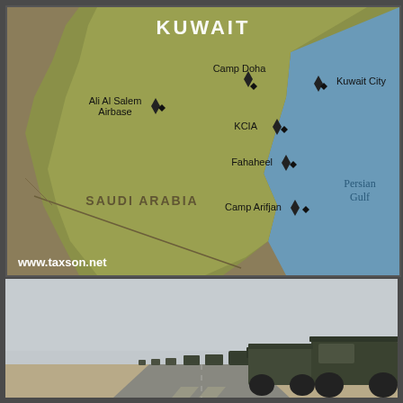[Figure (map): Map of Kuwait showing military bases and locations: Ali Al Salem Airbase, Camp Doha, Kuwait City, KCIA, Fahaheel, Camp Arifjan. Adjacent regions shown: Saudi Arabia to the south/west, Persian Gulf to the east. Website credit: www.taxson.net]
[Figure (photo): Convoy of military vehicles (trucks and jeeps) driving on a desert highway in Kuwait/Saudi Arabia region, photographed from behind showing vehicles receding into the distance.]